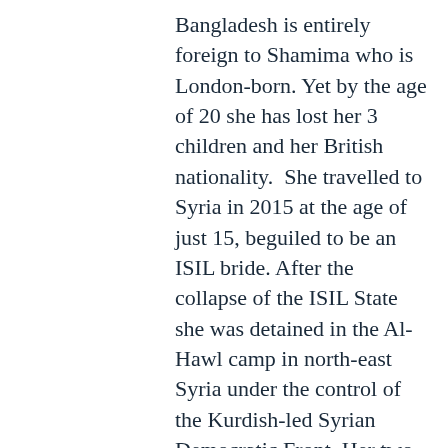Bangladesh is entirely foreign to Shamima who is London-born. Yet by the age of 20 she has lost her 3 children and her British nationality.  She travelled to Syria in 2015 at the age of just 15, beguiled to be an ISIL bride. After the collapse of the ISIL State she was detained in the Al-Hawl camp in north-east Syria under the control of the Kurdish-led Syrian Democratic Front. Her two elder children had died sometime earlier and her third, a son born in the camp, lived only a short time before succumbing to pneumonia. Reports suggest that Shamima was then transferred to the Al Roj camp